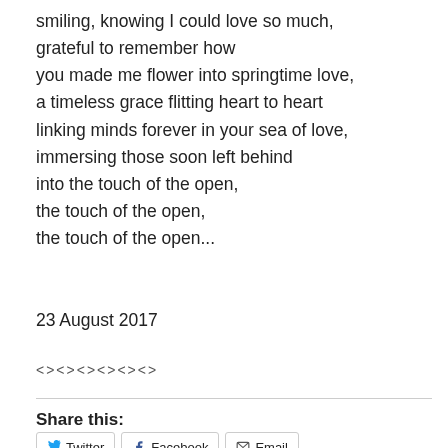smiling, knowing I could love so much,
gratefuI to remember how
you made me flower into springtime love,
a timeless grace flitting heart to heart
linking minds forever in your sea of love,
immersing those soon left behind
into the touch of the open,
the touch of the open,
the touch of the open...
23 August 2017
<><><><><><>
Share this:
Twitter   Facebook   Email